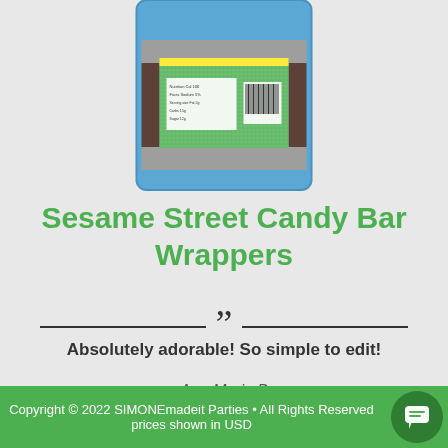[Figure (illustration): Sesame Street themed candy bar wrapper product image showing green patterned wrapper on chocolate bar with nutrition facts and barcode visible]
Sesame Street Candy Bar Wrappers
Absolutely adorable! So simple to edit!
Ann Marie B
Medford, Massachusetts
Copyright © 2022 SIMONEmadeit Parties • All Rights Reserved prices shown in USD